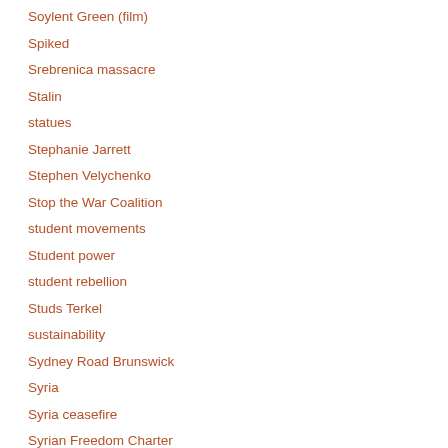Soylent Green (film)
Spiked
Srebrenica massacre
Stalin
statues
Stephanie Jarrett
Stephen Velychenko
Stop the War Coalition
student movements
Student power
student rebellion
Studs Terkel
sustainability
Sydney Road Brunswick
Syria
Syria ceasefire
Syrian Freedom Charter